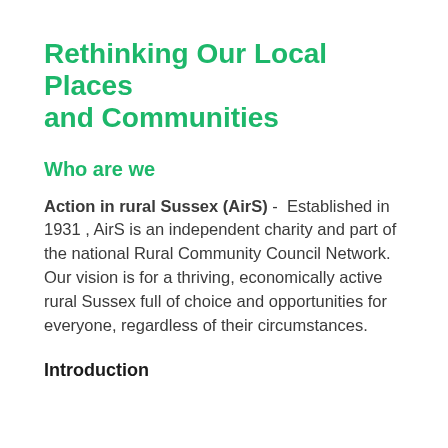Rethinking Our Local Places and Communities
Who are we
Action in rural Sussex (AirS)  - Established in 1931 , AirS is an independent charity and part of the national Rural Community Council Network. Our vision is for a thriving, economically active rural Sussex full of choice and opportunities for everyone, regardless of their circumstances.
Introduction